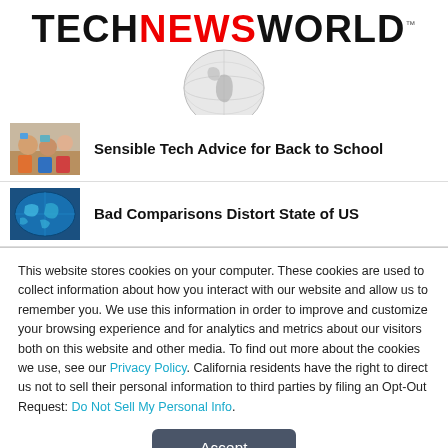[Figure (logo): TechNewsWorld logo with globe graphic. TECH and WORLD in black bold, NEWS in red bold, with a grey globe illustration below the text.]
[Figure (photo): Thumbnail photo of students with technology for back-to-school article.]
Sensible Tech Advice for Back to School
[Figure (photo): Thumbnail photo of world map/globe for US comparisons article.]
Bad Comparisons Distort State of US
This website stores cookies on your computer. These cookies are used to collect information about how you interact with our website and allow us to remember you. We use this information in order to improve and customize your browsing experience and for analytics and metrics about our visitors both on this website and other media. To find out more about the cookies we use, see our Privacy Policy. California residents have the right to direct us not to sell their personal information to third parties by filing an Opt-Out Request: Do Not Sell My Personal Info.
Accept